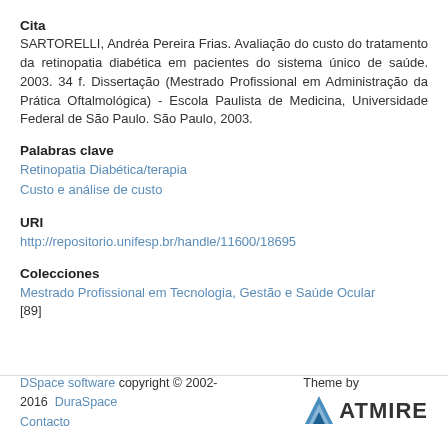Cita
SARTORELLI, Andréa Pereira Frias. Avaliação do custo do tratamento da retinopatia diabética em pacientes do sistema único de saúde. 2003. 34 f. Dissertação (Mestrado Profissional em Administração da Prática Oftalmológica) - Escola Paulista de Medicina, Universidade Federal de São Paulo. São Paulo, 2003.
Palabras clave
Retinopatia Diabética/terapia
Custo e análise de custo
URI
http://repositorio.unifesp.br/handle/11600/18695
Colecciones
Mestrado Profissional em Tecnologia, Gestão e Saúde Ocular [89]
DSpace software copyright © 2002-2016 DuraSpace Contacto | Theme by ATMIRE